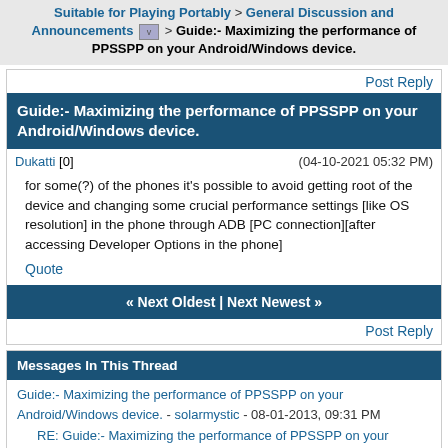Suitable for Playing Portably > General Discussion and Announcements v > Guide:- Maximizing the performance of PPSSPP on your Android/Windows device.
Post Reply
Guide:- Maximizing the performance of PPSSPP on your Android/Windows device.
Dukatti [0]   (04-10-2021 05:32 PM)
for some(?) of the phones it's possible to avoid getting root of the device and changing some crucial performance settings [like OS resolution] in the phone through ADB [PC connection][after accessing Developer Options in the phone]
Quote
« Next Oldest | Next Newest »
Post Reply
Messages In This Thread
Guide:- Maximizing the performance of PPSSPP on your Android/Windows device. - solarmystic - 08-01-2013, 09:31 PM
RE: Guide:- Maximizing the performance of PPSSPP on your Android/Windows device. - vsub_ - 08-01-2013, 09:41 PM